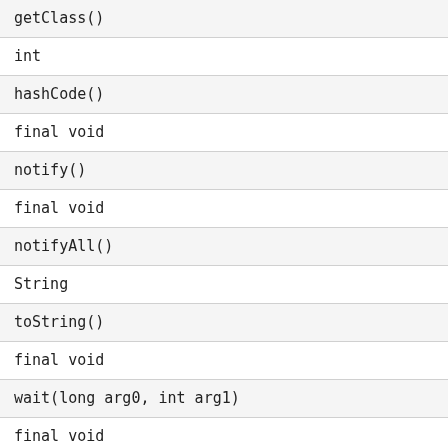| getClass() |
| int |
| hashCode() |
| final void |
| notify() |
| final void |
| notifyAll() |
| String |
| toString() |
| final void |
| wait(long arg0, int arg1) |
| final void |
| wait(long arg0) |
| final void |
| wait() |